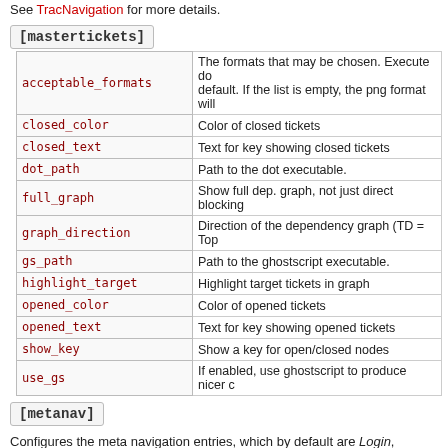See TracNavigation for more details.
[mastertickets]
| Key | Description |
| --- | --- |
| acceptable_formats | The formats that may be chosen. Execute do... default. If the list is empty, the png format will... |
| closed_color | Color of closed tickets |
| closed_text | Text for key showing closed tickets |
| dot_path | Path to the dot executable. |
| full_graph | Show full dep. graph, not just direct blocking... |
| graph_direction | Direction of the dependency graph (TD = Top... |
| gs_path | Path to the ghostscript executable. |
| highlight_target | Highlight target tickets in graph |
| opened_color | Color of opened tickets |
| opened_text | Text for key showing opened tickets |
| show_key | Show a key for open/closed nodes |
| use_gs | If enabled, use ghostscript to produce nicer c... |
[metanav]
Configures the meta navigation entries, which by default are Login, Logout, [mainnav]. Additionally, a special entry is supported - logout.redire...
[metanav]
logout.redirect = wiki/Logout
See TracNavigation for more details.
[milestone]